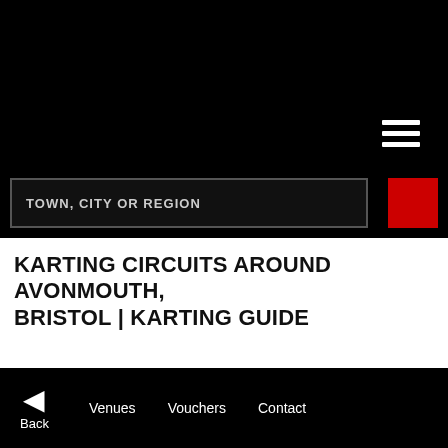[Figure (screenshot): Black header area with hamburger menu icon (three white horizontal lines) in the upper right]
TOWN, CITY OR REGION
KARTING CIRCUITS AROUND AVONMOUTH, BRISTOL | KARTING GUIDE
NEWPORT
Back  Venues  Vouchers  Contact